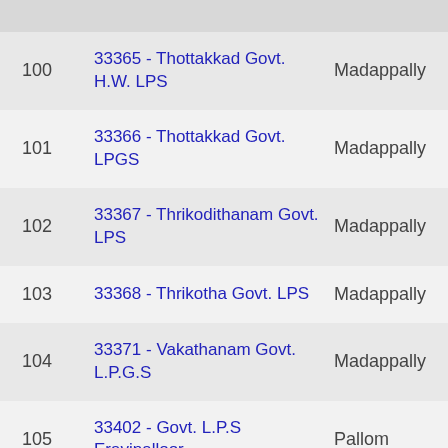| # | School | Location |
| --- | --- | --- |
| 100 | 33365 - Thottakkad Govt. H.W. LPS | Madappally |
| 101 | 33366 - Thottakkad Govt. LPGS | Madappally |
| 102 | 33367 - Thrikodithanam Govt. LPS | Madappally |
| 103 | 33368 - Thrikotha Govt. LPS | Madappally |
| 104 | 33371 - Vakathanam Govt. L.P.G.S | Madappally |
| 105 | 33402 - Govt. L.P.S Eravinalloor | Pallom |